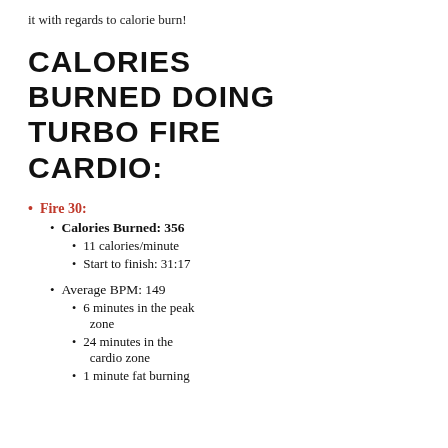it with regards to calorie burn!
CALORIES BURNED DOING TURBO FIRE CARDIO:
Fire 30:
Calories Burned: 356
11 calories/minute
Start to finish: 31:17
Average BPM: 149
6 minutes in the peak zone
24 minutes in the cardio zone
1 minute fat burning